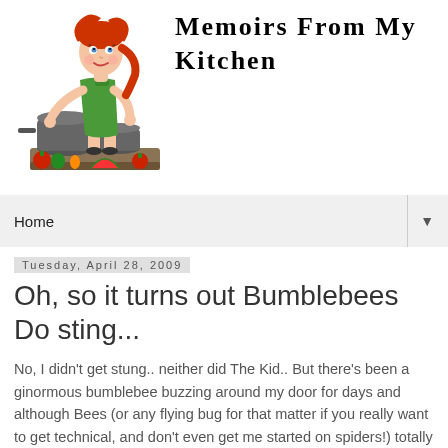[Figure (illustration): Cartoon illustration of a woman with red hair in a green apron cooking at a kitchen counter with vegetables and pots]
Memoirs From My Kitchen
Home
Tuesday, April 28, 2009
Oh, so it turns out Bumblebees Do sting...
No, I didn't get stung.. neither did The Kid.. But there's been a ginormous bumblebee buzzing around my door for days and although Bees (or any flying bug for that matter if you really want to get technical, and don't even get me started on spiders!) totally freak me out I was always under the assumption that those big buzzy bumblebees don't sting. So when the kid called me when he got home today freaking out because the bee was hovering right in front of the front door and he couldn't get in I kept trying to reassure him that bumblebees don't sting and to please stop freaking out.. then